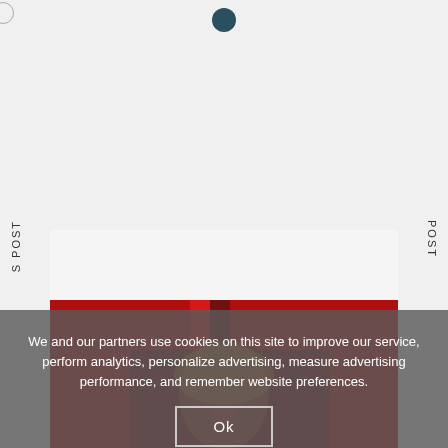[Figure (screenshot): Website screenshot with light gray background, a dark teal filled circle near top center, a small partial circle outline at top left, vertical text reading 'S POST' on the left side and 'POST' on the right side, and a red-toned photo of a woman in the lower portion.]
We and our partners use cookies on this site to improve our service, perform analytics, personalize advertising, measure advertising performance, and remember website preferences.
Ok